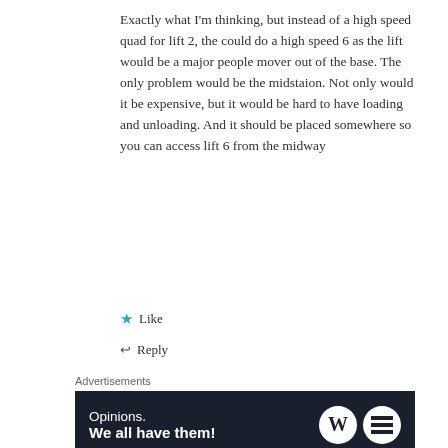Exactly what I'm thinking, but instead of a high speed quad for lift 2, the could do a high speed 6 as the lift would be a major people mover out of the base. The only problem would be the midstaion. Not only would it be expensive, but it would be hard to have loading and unloading. And it should be placed somewhere so you can access lift 6 from the midway
★ Like
↩ Reply
Advertisements
[Figure (infographic): Dark navy advertisement banner reading 'Opinions. We all have them!' with WordPress and another logo on the right side.]